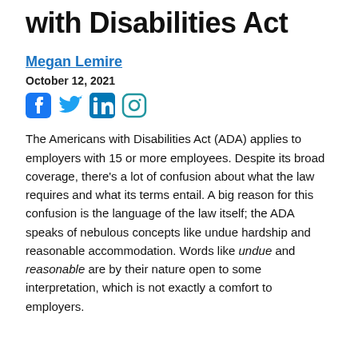with Disabilities Act
Megan Lemire
October 12, 2021
[Figure (other): Social media icons: Facebook, Twitter, LinkedIn, Instagram]
The Americans with Disabilities Act (ADA) applies to employers with 15 or more employees. Despite its broad coverage, there's a lot of confusion about what the law requires and what its terms entail. A big reason for this confusion is the language of the law itself; the ADA speaks of nebulous concepts like undue hardship and reasonable accommodation. Words like undue and reasonable are by their nature open to some interpretation, which is not exactly a comfort to employers.